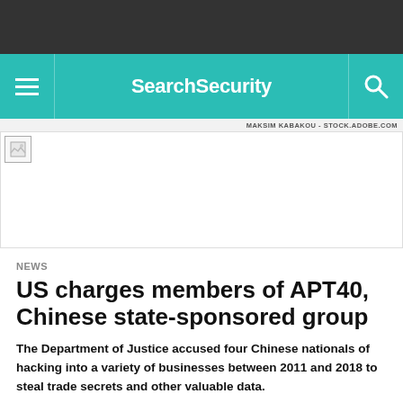SearchSecurity
MAKSIM KABAKOU - STOCK.ADOBE.COM
[Figure (photo): White/blank image placeholder with broken image icon in top-left corner]
NEWS
US charges members of APT40, Chinese state-sponsored group
The Department of Justice accused four Chinese nationals of hacking into a variety of businesses between 2011 and 2018 to steal trade secrets and other valuable data.